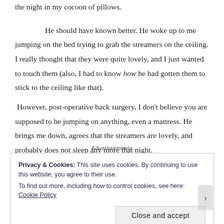the night in my cocoon of pillows.

He should have known better. He woke up to me jumping on the bed trying to grab the streamers on the ceiling. I really thought that they were quite lovely, and I just wanted to touch them (also, I had to know how he had gotten them to stick to the ceiling like that).
 However, post-operative back surgery, I don't believe you are supposed to be jumping on anything, even a mattress. He brings me down, agrees that the streamers are lovely, and probably does not sleep any more that night.
Advertisements
Privacy & Cookies: This site uses cookies. By continuing to use this website, you agree to their use.
To find out more, including how to control cookies, see here: Cookie Policy
Close and accept